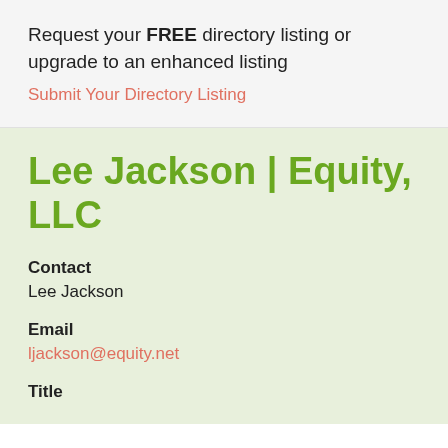Request your FREE directory listing or upgrade to an enhanced listing
Submit Your Directory Listing
Lee Jackson | Equity, LLC
Contact
Lee Jackson
Email
ljackson@equity.net
Title